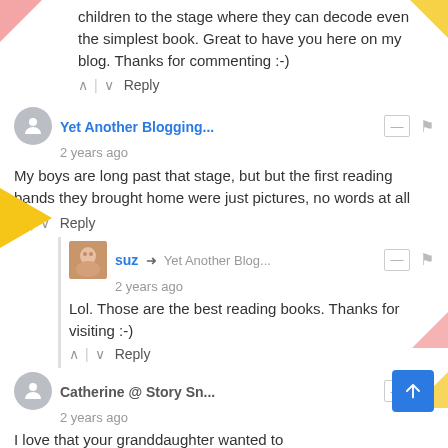children to the stage where they can decode even the simplest book. Great to have you here on my blog. Thanks for commenting :-)
^ | v  Reply
Yet Another Blogging...  2 years ago
My boys are long past that stage, but but the first reading bands they brought home were just pictures, no words at all
^ | v  Reply
suz → Yet Another Blog...  2 years ago
Lol. Those are the best reading books. Thanks for visiting :-)
^ | v  Reply
Catherine @ Story Sn...  2 years ago
I love that your granddaughter wanted to